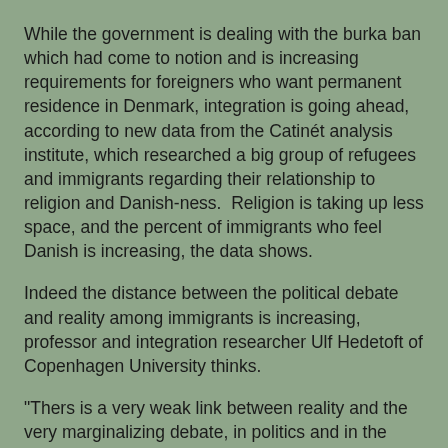While the government is dealing with the burka ban which had come to notion and is increasing requirements for foreigners who want permanent residence in Denmark, integration is going ahead, according to new data from the Catinét analysis institute, which researched a big group of refugees and immigrants regarding their relationship to religion and Danish-ness.  Religion is taking up less space, and the percent of immigrants who feel Danish is increasing, the data shows.
Indeed the distance between the political debate and reality among immigrants is increasing, professor and integration researcher Ulf Hedetoft of Copenhagen University thinks.
"Thers is a very weak link between reality and the very marginalizing debate, in politics and in the media.  Often with an unbalanced focus on individual cases," says Ulf Hedetoft, who is also head of the Nordic Migration Research, an association for researching immigration to the Nordic countries.